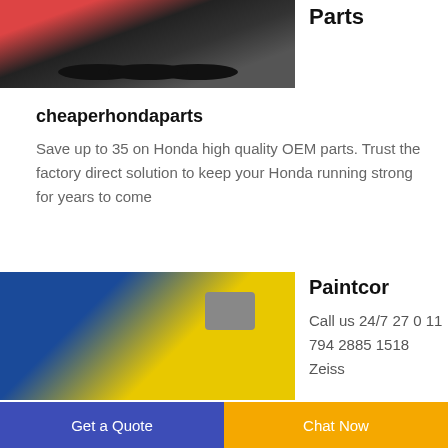[Figure (photo): Industrial machine (Honda engine generator on wheels) with red and black coloring, partial top crop]
Parts
cheaperhondaparts
Save up to 35 on Honda high quality OEM parts. Trust the factory direct solution to keep your Honda running strong for years to come
[Figure (photo): Blue and yellow industrial wire stripping machine with CE marking and red emergency stop button]
Paintcor
Call us 24/7 27 0 11 794 2885 1518 Zeiss
Get a Quote   Chat Now